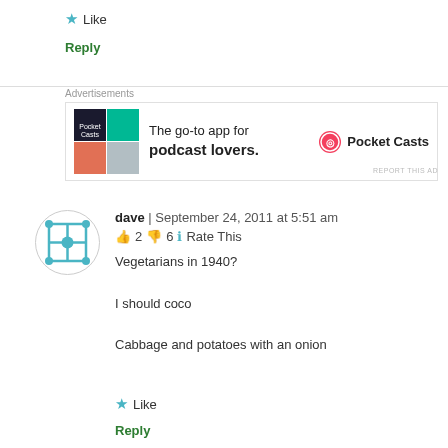★ Like
Reply
[Figure (infographic): Pocket Casts advertisement: 'The go-to app for podcast lovers.' with app icon and Pocket Casts logo]
REPORT THIS AD
[Figure (illustration): User avatar: circular icon with blue geometric pattern on white background]
dave | September 24, 2011 at 5:51 am
👍 2 👎 6 ℹ Rate This
Vegetarians in 1940?
I should coco
Cabbage and potatoes with an onion
★ Like
Reply